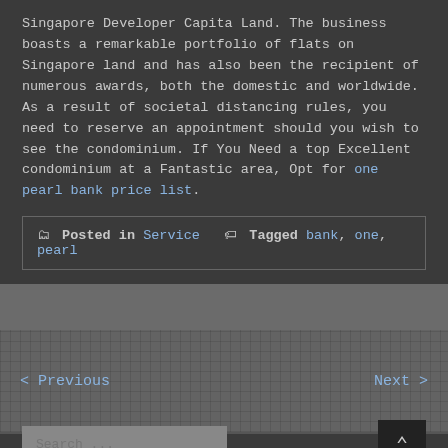Singapore Developer Capita Land. The business boasts a remarkable portfolio of flats on Singapore land and has also been the recipient of numerous awards, both the domestic and worldwide. As a result of societal distancing rules, you need to reserve an appointment should you wish to see the condominium. If You Need a top Excellent condominium at a Fantastic area, Opt for one pearl bank price list.
Posted in Service  Tagged bank, one, pearl
< Previous    Next >
Search ...